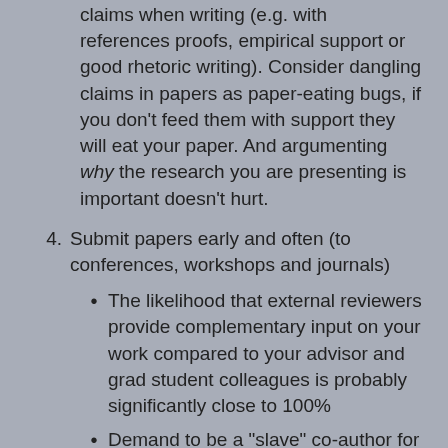claims when writing (e.g. with references proofs, empirical support or good rhetoric writing). Consider dangling claims in papers as paper-eating bugs, if you don't feed them with support they will eat your paper. And argumenting why the research you are presenting is important doesn't hurt.
4. Submit papers early and often (to conferences, workshops and journals)
The likelihood that external reviewers provide complementary input on your work compared to your advisor and grad student colleagues is probably significantly close to 100%
Demand to be a "slave" co-author for your advisor on the first paper, e.g. do all ground work (experiments etc.), but you learn the skill of writing and review process.
As my father advised me half-seriously: "even write on the toilet"